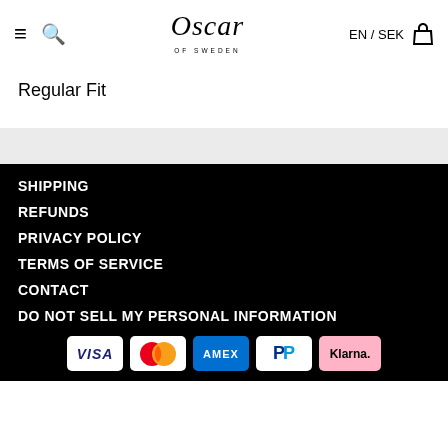Oscar of Sweden — EN / SEK
Regular Fit
SHIPPING
REFUNDS
PRIVACY POLICY
TERMS OF SERVICE
CONTACT
DO NOT SELL MY PERSONAL INFORMATION
[Figure (other): Payment method icons: VISA, Mastercard, AMEX, PayPal, Klarna]